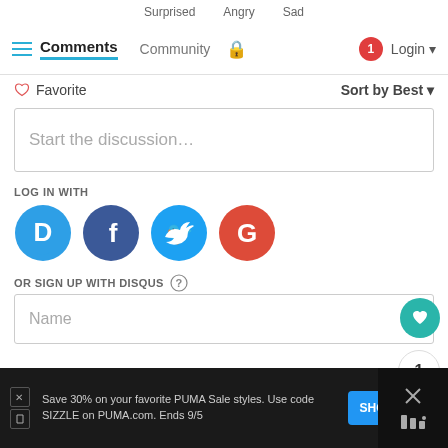Surprised   Angry   Sad
Comments   Community   Login
♡ Favorite   Sort by Best ▾
Start the discussion...
LOG IN WITH
[Figure (logo): Social login icons: Disqus (blue circle D), Facebook (dark blue circle f), Twitter (blue circle bird), Google (red circle G)]
OR SIGN UP WITH DISQUS ?
Name
Save 30% on your favorite PUMA Sale styles. Use code SIZZLE on PUMA.com. Ends 9/5
SHOP NOW